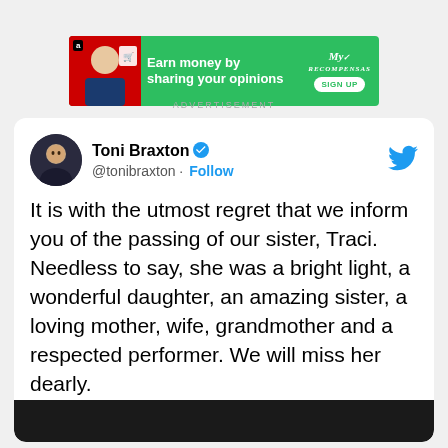[Figure (other): Green advertisement banner: 'Earn money by sharing your opinions' with Amazon logo, red image on left, My Recompensas logo and SIGN UP button on right]
ADVERTISEMENT
[Figure (screenshot): Tweet from Toni Braxton (@tonibraxton) with verified badge and Follow button. Tweet reads: 'It is with the utmost regret that we inform you of the passing of our sister, Traci. Needless to say, she was a bright light, a wonderful daughter, an amazing sister, a loving mother, wife, grandmother and a respected performer. We will miss her dearly.' Partial dark image visible at bottom.]